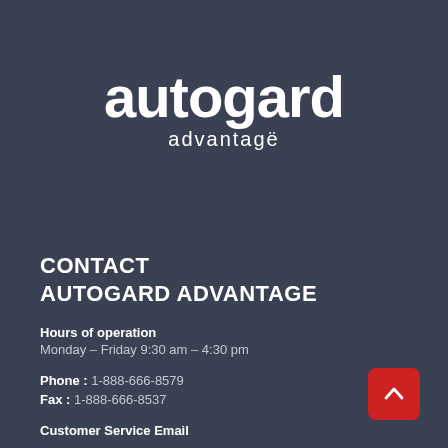[Figure (logo): autogard advantage logo in white text on dark blue-grey background]
CONTACT AUTOGARD ADVANTAGE
Hours of operation
Monday – Friday 9:30 am – 4:30 pm
Phone : 1-888-666-8579
Fax : 1-888-666-8537
Customer Service Email